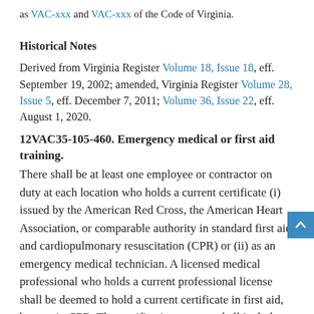as VAC-xxx and VAC-xxx of the Code of Virginia.
Historical Notes
Derived from Virginia Register Volume 18, Issue 18, eff. September 19, 2002; amended, Virginia Register Volume 28, Issue 5, eff. December 7, 2011; Volume 36, Issue 22, eff. August 1, 2020.
12VAC35-105-460. Emergency medical or first aid training.
There shall be at least one employee or contractor on duty at each location who holds a current certificate (i) issued by the American Red Cross, the American Heart Association, or comparable authority in standard first aid and cardiopulmonary resuscitation (CPR) or (ii) as an emergency medical technician. A licensed medical professional who holds a current professional license shall be deemed to hold a current certificate in first aid, but not in CPR. The certification process shall include a hands-on, in-person demonstration of first aid and CPR competency.